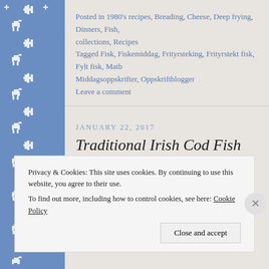[Figure (illustration): Blue decorative Nordic/Scandinavian pattern sidebar with reindeer and snowflake motifs in white on blue background]
Posted in 1980's recipes, Breading, Cheese, Deep frying, Dinners, Fish, collections, Recipes
Tagged Fisk, Fiskemiddag, Frityrsteking, Frityrstekt fisk, Fylt fisk, Matb Middagsoppskrifter, Oppskriftblogger
Leave a comment
JANUARY 22, 2017
Traditional Irish Cod Fish Cakes / Tradisjo Irske Fiskekaker Av Torsk
Privacy & Cookies: This site uses cookies. By continuing to use this website, you agree to their use. To find out more, including how to control cookies, see here: Cookie Policy